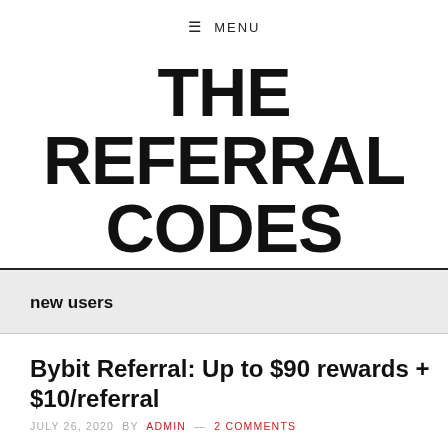≡ MENU
THE REFERRAL CODES
new users
Bybit Referral: Up to $90 rewards + $10/referral
JULY 26, 2020 BY ADMIN — 2 COMMENTS